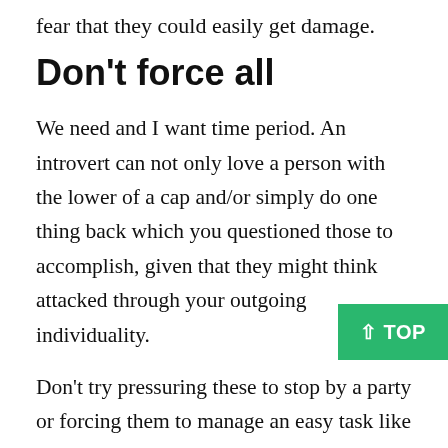fear that they could easily get damage.
Don't force all
We need and I want time period. An introvert can not only love a person with the lower of a cap and/or simply do one thing back which you questioned those to accomplish, given that they might think attacked through your outgoing individuality.
Don't try pressuring these to stop by a party or forcing them to manage an easy task like satisfying your folks. You will possibly not